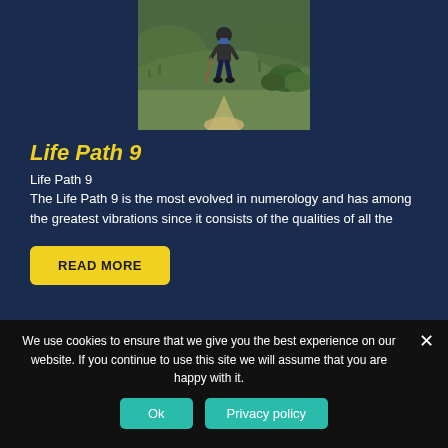[Figure (photo): Person hiking on a trail through green grassy hillside, viewed from behind, wearing backpack and dark clothing]
Life Path 9
Life Path 9
The Life Path 9 is the most evolved in numerology and has among the greatest vibrations since it consists of the qualities of all the
READ MORE
We use cookies to ensure that we give you the best experience on our website. If you continue to use this site we will assume that you are happy with it.
Ok
Privacy policy